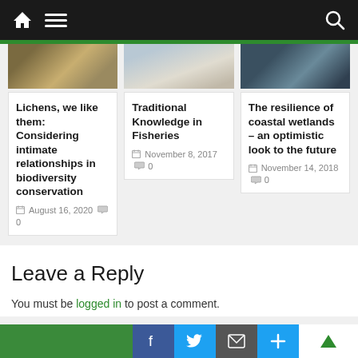Navigation bar with home, menu, and search icons
[Figure (screenshot): Three article thumbnail images in a row: mossy/lichen texture, water/motion blur, aerial coastal view]
Lichens, we like them: Considering intimate relationships in biodiversity conservation
August 16, 2020  0
Traditional Knowledge in Fisheries
November 8, 2017  0
The resilience of coastal wetlands – an optimistic look to the future
November 14, 2018  0
Leave a Reply
You must be logged in to post a comment.